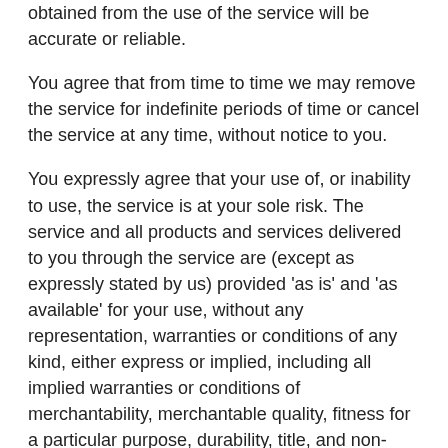obtained from the use of the service will be accurate or reliable.
You agree that from time to time we may remove the service for indefinite periods of time or cancel the service at any time, without notice to you.
You expressly agree that your use of, or inability to use, the service is at your sole risk. The service and all products and services delivered to you through the service are (except as expressly stated by us) provided 'as is' and 'as available' for your use, without any representation, warranties or conditions of any kind, either express or implied, including all implied warranties or conditions of merchantability, merchantable quality, fitness for a particular purpose, durability, title, and non-infringement.
In no case shall Shungaboy Group, our owners,